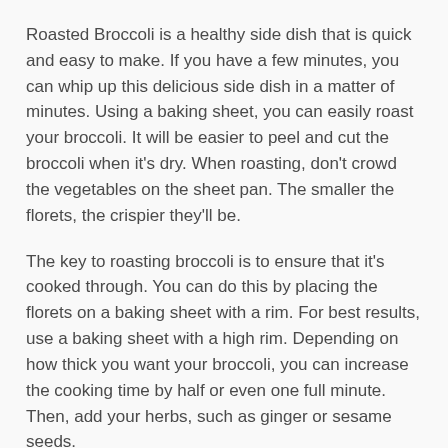Roasted Broccoli is a healthy side dish that is quick and easy to make. If you have a few minutes, you can whip up this delicious side dish in a matter of minutes. Using a baking sheet, you can easily roast your broccoli. It will be easier to peel and cut the broccoli when it's dry. When roasting, don't crowd the vegetables on the sheet pan. The smaller the florets, the crispier they'll be.
The key to roasting broccoli is to ensure that it's cooked through. You can do this by placing the florets on a baking sheet with a rim. For best results, use a baking sheet with a high rim. Depending on how thick you want your broccoli, you can increase the cooking time by half or even one full minute. Then, add your herbs, such as ginger or sesame seeds.
You can also roast broccoli without adding any extra cheese or lemon. A simple combination of olive oil, salt, and black pepper is enough. This veggie is great served as a side dish or a salad, and it's easy to reheat. If you want to make it in advance, you can use the leftovers as a base for a grain salad. You can even replace Brussels